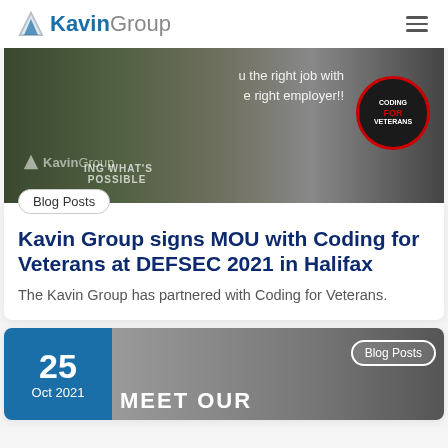KavinGroup
[Figure (photo): Group photo at DEFSEC 2021 event with KavinGroup banner and Coding for Veterans logo visible]
Blog Posts
Kavin Group signs MOU with Coding for Veterans at DEFSEC 2021 in Halifax
The Kavin Group has partnered with Coding for Veterans.
25 Oct 2021
Blog Posts
MEET OUR